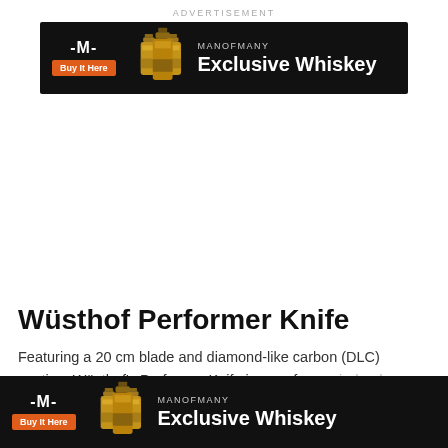ADVERTISEMENT
[Figure (infographic): Man of Many advertisement banner with black background, MoM logo, orange Buy It Here button, whiskey bottles, and text MANOFMANY Exclusive Whiskey]
Wüsthof Performer Knife
Featuring a 20 cm blade and diamond-like carbon (DLC) coating, Wüsthof's Performer Knife is a performer indeed... lessly slices ... ving
[Figure (infographic): Second Man of Many advertisement banner with black background, MoM logo, orange Buy It Here button, whiskey bottles, and text MANOFMANY Exclusive Whiskey]